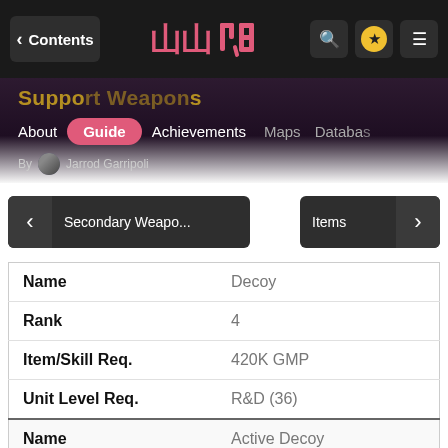< Contents | [logo] | [search] [star] [menu]
Support Weapons
About  Guide  Achievements  Maps  Database
By Jarrod Garripoli
< Secondary Weopo...    Items >
| Field | Value |
| --- | --- |
| Name | Decoy |
| Rank | 4 |
| Item/Skill Req. | 420K GMP |
| Unit Level Req. | R&D (36) |
| Name | Active Decoy |
| Rank | 5 |
| Item/Skill Req. | 660K GMP |
| Unit Level Req. | R&D (56) |